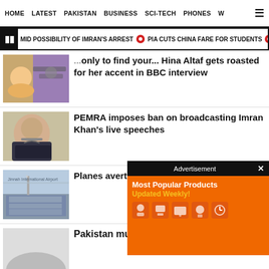HOME  LATEST  PAKISTAN  BUSINESS  SCI-TECH  PHONES  W  ☰
MID POSSIBILITY OF IMRAN'S ARREST  ● PIA CUTS CHINA FARE FOR STUDENTS  ●
...only to find your... Hina Altaf gets roasted for her accent in BBC interview
PEMRA imposes ban on broadcasting Imran Khan's live speeches
Planes avert c...
[Figure (infographic): Advertisement overlay: Most Popular Products Updated Weekly! with orange background and product icons]
Pakistan mulls taking upfront cost